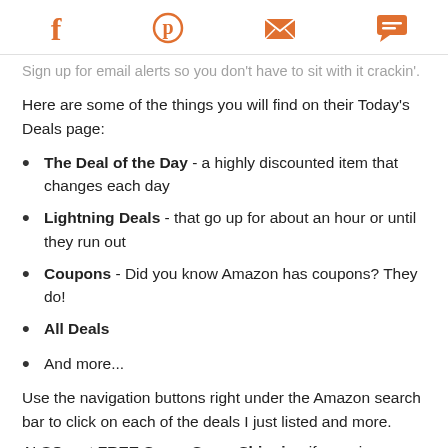[social share icons: Facebook, Pinterest, Email, Chat]
Sign up for email alerts so you don't have to sit with it crackin'.
Here are some of the things you will find on their Today's Deals page:
The Deal of the Day - a highly discounted item that changes each day
Lightning Deals - that go up for about an hour or until they run out
Coupons - Did you know Amazon has coupons? They do!
All Deals
And more...
Use the navigation buttons right under the Amazon search bar to click on each of the deals I just listed and more.
ALSO, get FREE Super Saver Shipping if you give